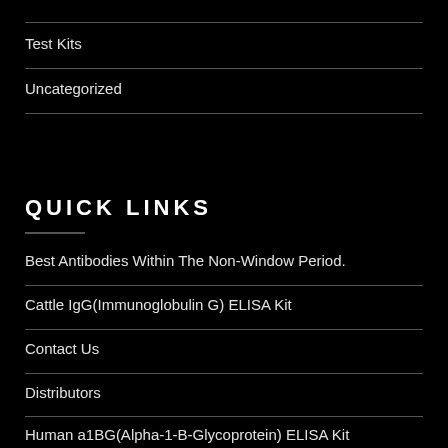Test Kits
Uncategorized
QUICK LINKS
Best Antibodies Within The Non-Window Period.
Cattle IgG(Immunoglobulin G) ELISA Kit
Contact Us
Distributors
Human a1BG(Alpha-1-B-Glycoprotein) ELISA Kit